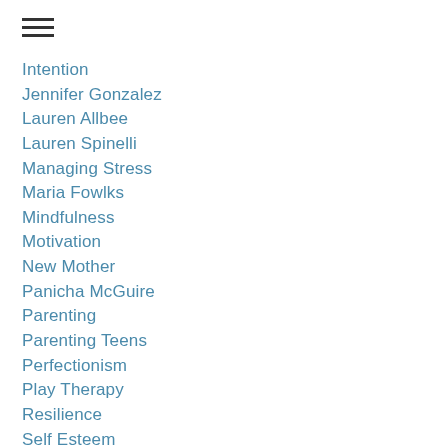[Figure (other): Hamburger menu icon with three horizontal lines]
Intention
Jennifer Gonzalez
Lauren Allbee
Lauren Spinelli
Managing Stress
Maria Fowlks
Mindfulness
Motivation
New Mother
Panicha McGuire
Parenting
Parenting Teens
Perfectionism
Play Therapy
Resilience
Self Esteem
Teens
Telehealth